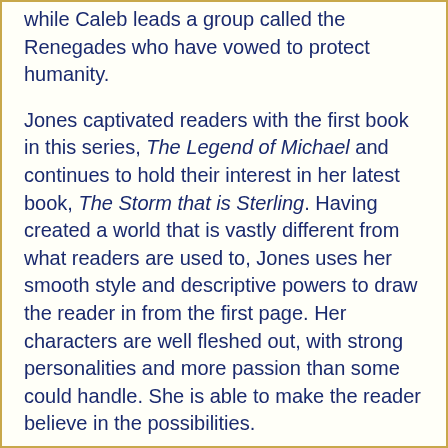while Caleb leads a group called the Renegades who have vowed to protect humanity.

Jones captivated readers with the first book in this series, The Legend of Michael and continues to hold their interest in her latest book, The Storm that is Sterling. Having created a world that is vastly different from what readers are used to, Jones uses her smooth style and descriptive powers to draw the reader in from the first page. Her characters are well fleshed out, with strong personalities and more passion than some could handle. She is able to make the reader believe in the possibilities.

Sterling is an alpha male on steroids in a sense. He was already sexy, already strong and determined but the Alien DNA he received has made him a force of nature. He epitomizes the idea of the perfect storm. He is fearless, yet he shows his vulnerability when he re-encounters Becca after 14 years. I liked the fact